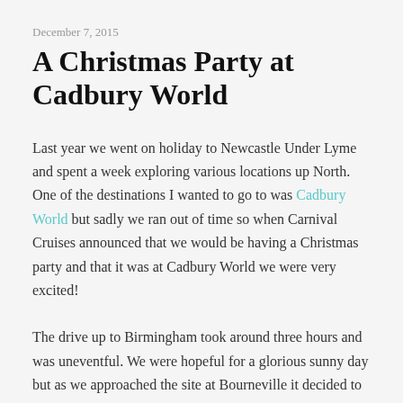December 7, 2015
A Christmas Party at Cadbury World
Last year we went on holiday to Newcastle Under Lyme and spent a week exploring various locations up North. One of the destinations I wanted to go to was Cadbury World but sadly we ran out of time so when Carnival Cruises announced that we would be having a Christmas party and that it was at Cadbury World we were very excited!
The drive up to Birmingham took around three hours and was uneventful. We were hopeful for a glorious sunny day but as we approached the site at Bourneville it decided to cloud over but a bit of rain has never excited our fun…